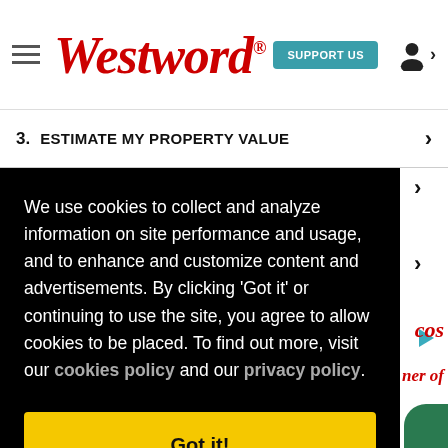Westword — SUPPORT US — user icon
3. ESTIMATE MY PROPERTY VALUE
We use cookies to collect and analyze information on site performance and usage, and to enhance and customize content and advertisements. By clicking 'Got it' or continuing to use the site, you agree to allow cookies to be placed. To find out more, visit our cookies policy and our privacy policy.
Got it!